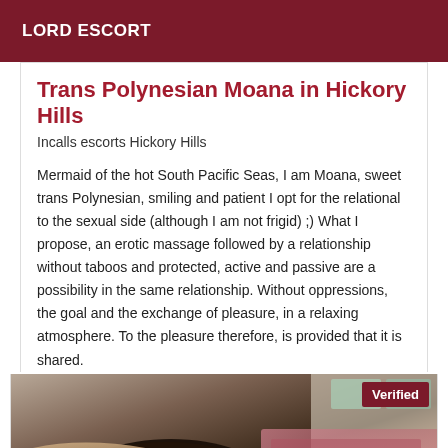LORD ESCORT
Trans Polynesian Moana in Hickory Hills
Incalls escorts Hickory Hills
Mermaid of the hot South Pacific Seas, I am Moana, sweet trans Polynesian, smiling and patient I opt for the relational to the sexual side (although I am not frigid) ;) What I propose, an erotic massage followed by a relationship without taboos and protected, active and passive are a possibility in the same relationship. Without oppressions, the goal and the exchange of pleasure, in a relaxing atmosphere. To the pleasure therefore, is provided that it is shared.
[Figure (photo): Close-up photo of a person's hand/arm with a tattoo, inside a vehicle. A 'Verified' badge is overlaid in the top-right corner.]